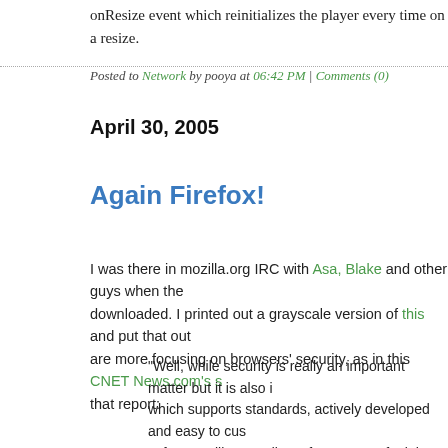onResize event which reinitializes the player every time on a resize.
Posted to Network by pooya at 06:42 PM | Comments (0)
April 30, 2005
Again Firefox!
I was there in mozilla.org IRC with Asa, Blake and other guys when the downloaded. I printed out a grayscale version of this and put that out are more focusing on browsers' security, as in this CNET News.com's s that report:
"Well, while security is really an important matter but it is also i which supports standards, actively developed and easy to cus software will never die as far as users feel the need. It is so po listen to the users and not just do what they want to do. That i direction: it is not that hard to imagine an open-source project